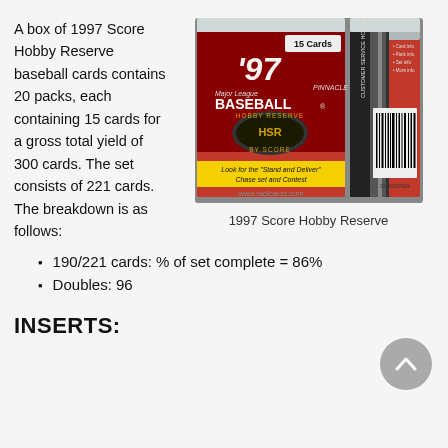A box of 1997 Score Hobby Reserve baseball cards contains 20 packs, each containing 15 cards for a gross total yield of 300 cards. The set consists of 221 cards. The breakdown is as follows:
[Figure (photo): Photo of 1997 Score Hobby Reserve baseball card pack, showing front and back of the pack. Front shows '97 Major League Baseball Hobby Reserve by Score branding with red and black design. Back shows barcode and customer service hotline.]
1997 Score Hobby Reserve
190/221 cards: % of set complete = 86%
Doubles: 96
INSERTS: